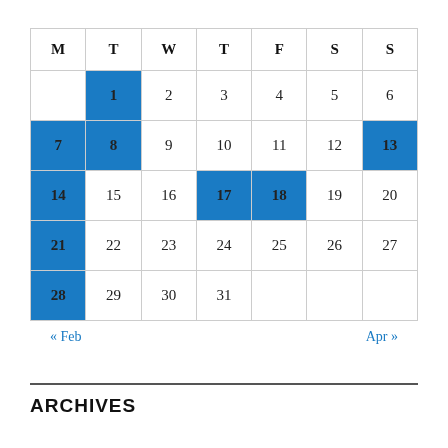| M | T | W | T | F | S | S |
| --- | --- | --- | --- | --- | --- | --- |
|  | 1 | 2 | 3 | 4 | 5 | 6 |
| 7 | 8 | 9 | 10 | 11 | 12 | 13 |
| 14 | 15 | 16 | 17 | 18 | 19 | 20 |
| 21 | 22 | 23 | 24 | 25 | 26 | 27 |
| 28 | 29 | 30 | 31 |  |  |  |
« Feb    Apr »
ARCHIVES